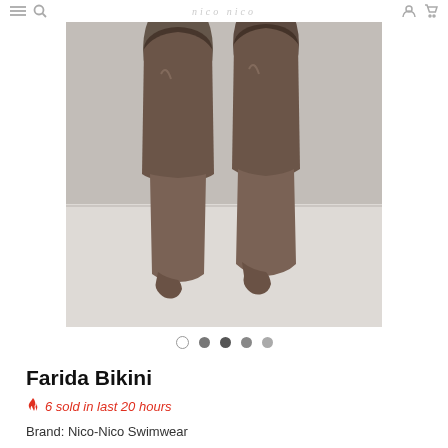nico-nico
[Figure (photo): Close-up photo of a model's legs from thigh to feet, wearing what appears to be a bikini bottom with decorative lace/floral thigh-high detail. The background is light gray/white. The image is cropped to show only the lower body.]
Farida Bikini
🔥 6 sold in last 20 hours
Brand: Nico-Nico Swimwear
Product Code:
Availability: Many In Stock